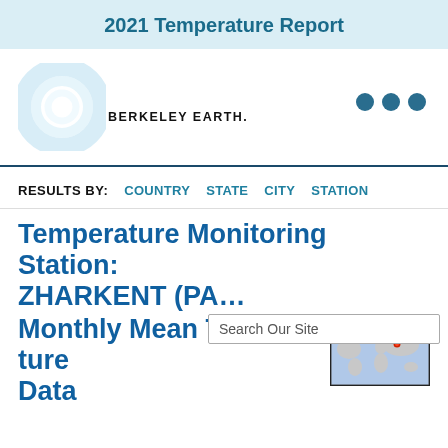2021 Temperature Report
[Figure (logo): Berkeley Earth logo: concentric blue circle rings with text BERKELEY EARTH.]
RESULTS BY:  COUNTRY  STATE  CITY  STATION
Temperature Monitoring Station: ZHARKENT (PA…
Monthly Mean Temperature Data
[Figure (map): World map thumbnail with a red dot marker indicating location of the station, approximately in Central Asia/Kazakhstan region.]